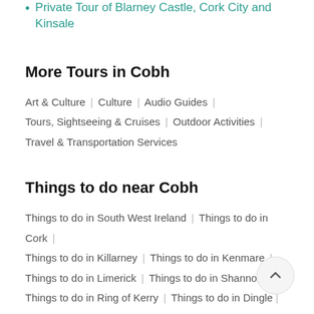Private Tour of Blarney Castle, Cork City and Kinsale
More Tours in Cobh
Art & Culture | Culture | Audio Guides | Tours, Sightseeing & Cruises | Outdoor Activities | Travel & Transportation Services
Things to do near Cobh
Things to do in South West Ireland | Things to do in Cork | Things to do in Killarney | Things to do in Kenmare | Things to do in Limerick | Things to do in Shannon | Things to do in Ring of Kerry | Things to do in Dingle | Things to do in Galway | Things to do in Dublin |